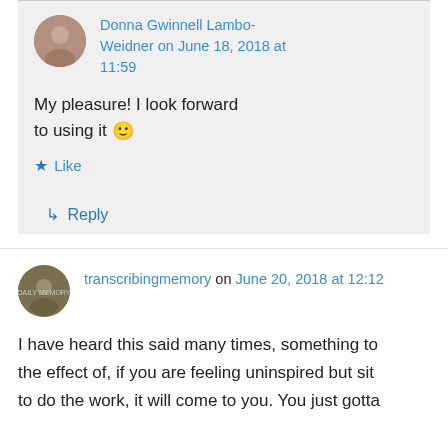Donna Gwinnell Lambo-Weidner on June 18, 2018 at 11:59
My pleasure! I look forward to using it 🙂
Like
↳ Reply
transcribingmemory on June 20, 2018 at 12:12
I have heard this said many times, something to the effect of, if you are feeling uninspired but sit to do the work, it will come to you. You just gotta